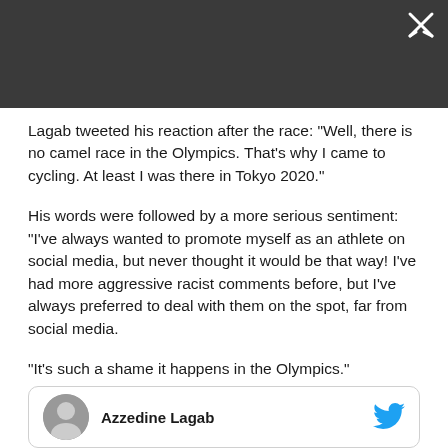Lagab tweeted his reaction after the race: "Well, there is no camel race in the Olympics. That's why I came to cycling. At least I was there in Tokyo 2020."
His words were followed by a more serious sentiment: "I've always wanted to promote myself as an athlete on social media, but never thought it would be that way! I've had more aggressive racist comments before, but I've always preferred to deal with them on the spot, far from social media.
"It's such a shame it happens in the Olympics."
[Figure (other): Tweet card showing a circular avatar photo of Azzedine Lagab on the left, his name 'Azzedine Lagab' in bold text in the center, and a blue Twitter bird icon on the right.]